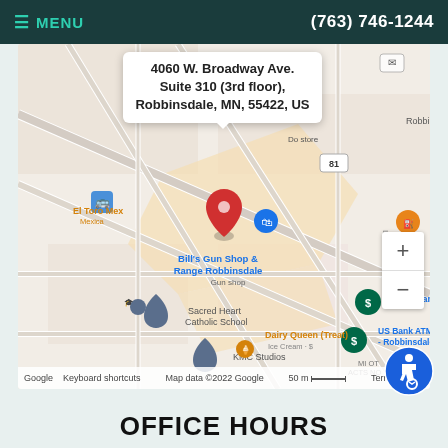MENU  (763) 746-1244
[Figure (map): Google Map showing location at 4060 W. Broadway Ave. Suite 310 (3rd floor), Robbinsdale, MN, 55422, US. Nearby landmarks include Bill's Gun Shop & Range Robbinsdale, Sacred Heart Catholic School, KMC Studios, Dairy Queen (Treat), U.S. Bank Branch, US Bank ATM - Robbinsdale, El Toro Mex (Mexican), and a Dollar Store. Map data ©2022 Google, 50m scale.]
OFFICE HOURS